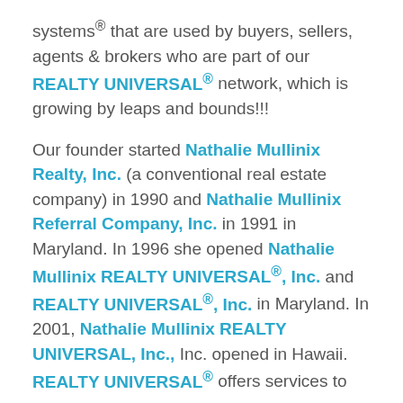systems® that are used by buyers, sellers, agents & brokers who are part of our REALTY UNIVERSAL® network, which is growing by leaps and bounds!!!
Our founder started Nathalie Mullinix Realty, Inc. (a conventional real estate company) in 1990 and Nathalie Mullinix Referral Company, Inc. in 1991 in Maryland. In 1996 she opened Nathalie Mullinix REALTY UNIVERSAL®, Inc. and REALTY UNIVERSAL®, Inc. in Maryland. In 2001, Nathalie Mullinix REALTY UNIVERSAL, Inc., Inc. opened in Hawaii. REALTY UNIVERSAL® offers services to